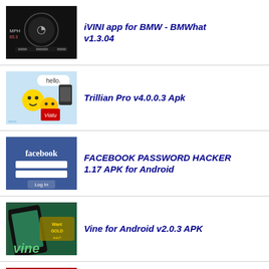iVINI app for BMW - BMWhat v1.3.04
Trillian Pro v4.0.0.3 Apk
FACEBOOK PASSWORD HACKER 1.17 APK for Android
Vine for Android v2.0.3 APK
Killer Bean Unleashed 3.18 (Unlocked Weapons Ammo Lives) Apk